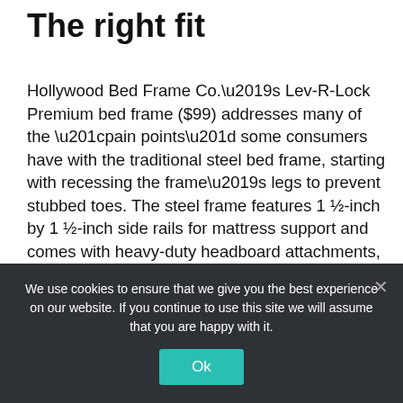The right fit
Hollywood Bed Frame Co.’s Lev-R-Lock Premium bed frame ($99) addresses many of the “pain points” some consumers have with the traditional steel bed frame, starting with recessing the frame’s legs to prevent stubbed toes. The steel frame features 1 ½-inch by 1 ½-inch side rails for mattress support and comes with heavy-duty headboard attachments, according to the company, which is based in Commerce, California.
We use cookies to ensure that we give you the best experience on our website. If you continue to use this site we will assume that you are happy with it.